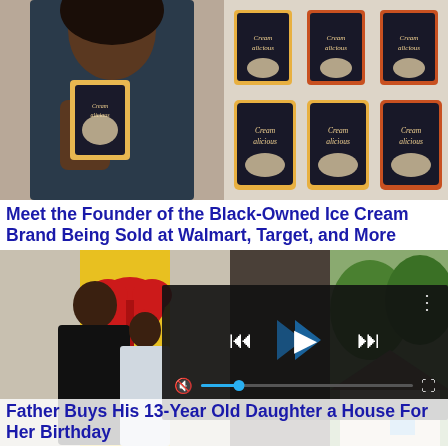[Figure (photo): Left: Woman in dark blue shirt holding a Creamalicious ice cream pint container. Right: Multiple Creamalicious ice cream pint containers arranged together showing various flavors with dark packaging.]
Meet the Founder of the Black-Owned Ice Cream Brand Being Sold at Walmart, Target, and More
[Figure (photo): Father and young daughter (13-year-old) standing together in front of a yellow door with a large red bow, celebrating a house gift for her birthday. Right side shows a house exterior with trees. Video player overlay with playback controls is displayed over the right portion.]
Father Buys His 13-Year Old Daughter a House For Her Birthday